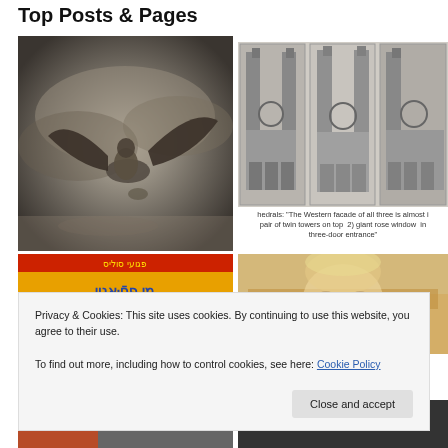Top Posts & Pages
[Figure (illustration): Gustave Doré style engraving of a winged demonic figure with a human in flight amid stormy clouds, black and white]
[Figure (photo): Black and white composite photograph of three Gothic cathedrals showing their western facades side by side]
hedrals: "The Western facade of all three is almost i pair of twin towers on top  2) giant rose window  in three-door entrance"
[Figure (photo): Sign in Hebrew text with blue and yellow background reading 'Ychi HaMelech' (Long live the King)]
[Figure (photo): Blurry photo of a young blonde child peeking over the back of a chair]
Privacy & Cookies: This site uses cookies. By continuing to use this website, you agree to their use.
To find out more, including how to control cookies, see here: Cookie Policy
[Figure (photo): Bottom left partial image, partially obscured]
[Figure (photo): Bottom right partial dark image, partially obscured]